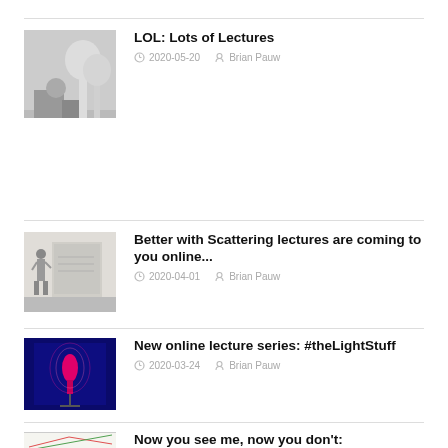[Figure (photo): Black and white photo of a person outdoors with others around them]
LOL: Lots of Lectures
2020-05-20   Brian Pauw
[Figure (photo): Person standing at a presentation screen giving a lecture]
Better with Scattering lectures are coming to you online...
2020-04-01   Brian Pauw
[Figure (photo): Microphone with pink/magenta light against dark blue background]
New online lecture series: #theLightStuff
2020-03-24   Brian Pauw
[Figure (photo): Scientific graph or chart with lines]
Now you see me, now you don't: detectability in SAXS